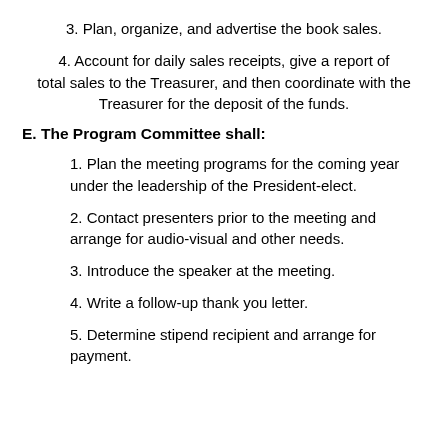3. Plan, organize, and advertise the book sales.
4. Account for daily sales receipts, give a report of total sales to the Treasurer, and then coordinate with the Treasurer for the deposit of the funds.
E. The Program Committee shall:
1. Plan the meeting programs for the coming year under the leadership of the President-elect.
2. Contact presenters prior to the meeting and arrange for audio-visual and other needs.
3. Introduce the speaker at the meeting.
4. Write a follow-up thank you letter.
5. Determine stipend recipient and arrange for payment.